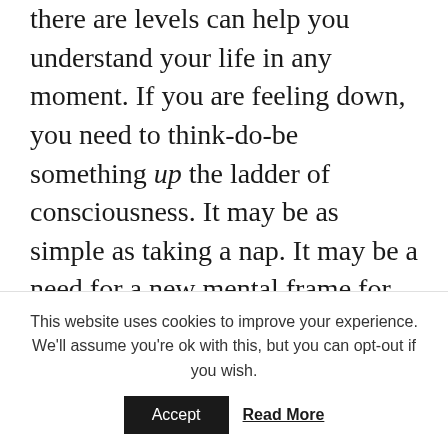there are levels can help you understand your life in any moment. If you are feeling down, you need to think-do-be something up the ladder of consciousness. It may be as simple as taking a nap. It may be a need for a new mental frame for what you are experiencing. The idea, of course, is to live from higher states of consciousness. You'll be happier there. And so
This website uses cookies to improve your experience. We'll assume you're ok with this, but you can opt-out if you wish.
Accept   Read More